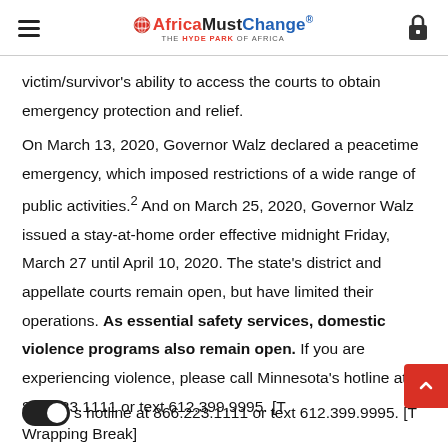AfricaMustChange® THE HYDE PARK OF AFRICA
victim/survivor's ability to access the courts to obtain emergency protection and relief.
On March 13, 2020, Governor Walz declared a peacetime emergency, which imposed restrictions of a wide range of public activities.² And on March 25, 2020, Governor Walz issued a stay-at-home order effective midnight Friday, March 27 until April 10, 2020. The state's district and appellate courts remain open, but have limited their operations. As essential safety services, domestic violence programs also remain open. If you are experiencing violence, please call Minnesota's hotline at 866.223.1111 or text 612.399.9995. [T Wrapping Break]